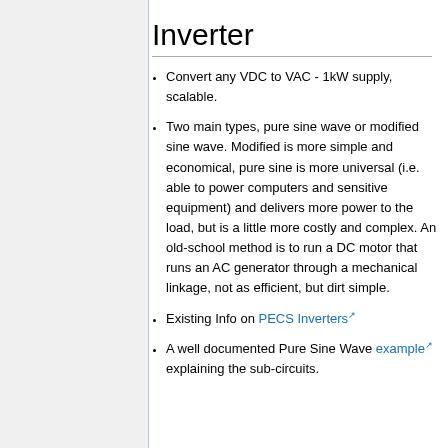Inverter
Convert any VDC to VAC - 1kW supply, scalable.
Two main types, pure sine wave or modified sine wave. Modified is more simple and economical, pure sine is more universal (i.e. able to power computers and sensitive equipment) and delivers more power to the load, but is a little more costly and complex. An old-school method is to run a DC motor that runs an AC generator through a mechanical linkage, not as efficient, but dirt simple.
Existing Info on PECS Inverters
A well documented Pure Sine Wave example explaining the sub-circuits.